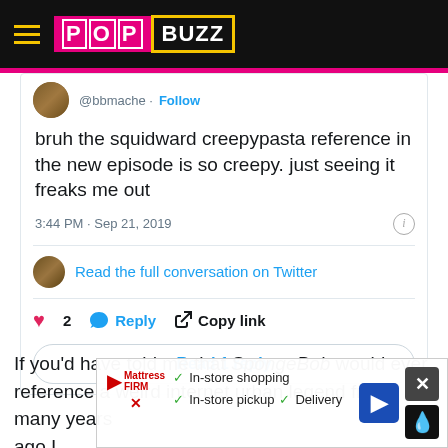POPBUZZ
[Figure (screenshot): Tweet from @bbmache with Follow button. Tweet text: bruh the squidward creepypasta reference in the new episode is so creepy. just seeing it freaks me out. Time: 3:44 PM · Sep 21, 2019. Read the full conversation on Twitter link. Heart 2, Reply, Copy link actions. Read 1 reply button.]
If you'd have told me that SpongeBob would ever reference a weird internet urban legend from many years ago I being
[Figure (screenshot): Ad overlay: Mattress Firm logo with checkmarks for In-store shopping, In-store pickup, Delivery. Blue navigation arrow. Close X button and fire/drop icon button.]